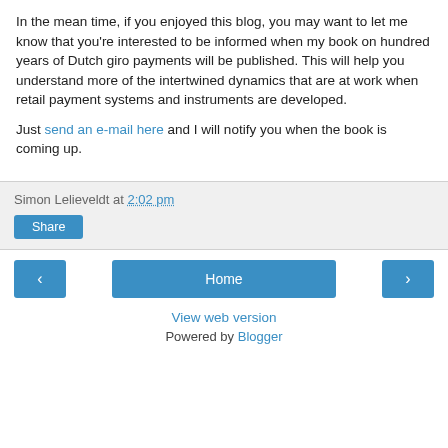In the mean time, if you enjoyed this blog, you may want to let me know that you're interested to be informed when my book on hundred years of Dutch giro payments will be published. This will help you understand more of the intertwined dynamics that are at work when retail payment systems and instruments are developed.
Just send an e-mail here and I will notify you when the book is coming up.
Simon Lelieveldt at 2:02 pm
Share
Home
View web version
Powered by Blogger